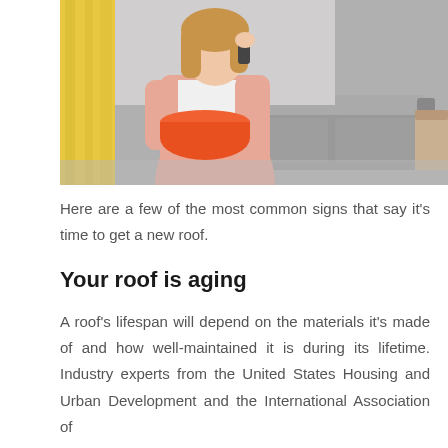[Figure (photo): A woman holding a large orange bowl to catch water dripping from a leaking roof, standing in a living room with a gray sofa and yellow curtains in the background, talking on the phone.]
Here are a few of the most common signs that say it's time to get a new roof.
Your roof is aging
A roof's lifespan will depend on the materials it's made of and how well-maintained it is during its lifetime. Industry experts from the United States Housing and Urban Development and the International Association of